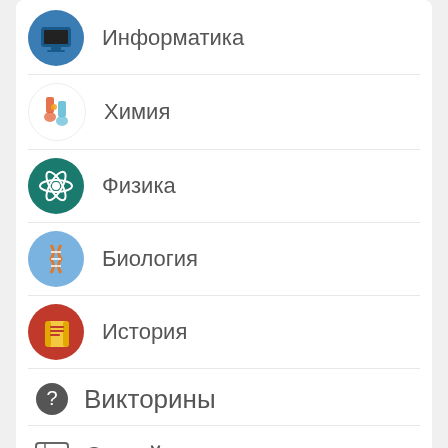Информатика
Химия
Физика
Биология
История
Викторины
Онлайн-тесты
Все просто 👍
1. Зарегистрируйтесь и войдите на сайт
2. Подайте заявку
3. Получите задание
4. Внесите ответы